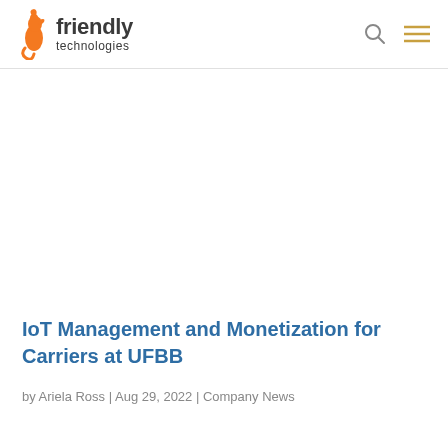friendly technologies
IoT Management and Monetization for Carriers at UFBB
by Ariela Ross | Aug 29, 2022 | Company News